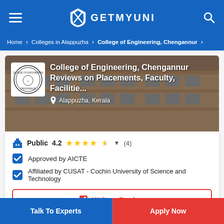GETMYUNI
Home > Colleges in Alappuzha > College of Engineering, Chengannur >
[Figure (screenshot): College of Engineering Chengannur building banner image with college logo, title, and location]
College of Engineering, Chengannur
Reviews on Placements, Faculty, Facilitie...
Alappuzha, Kerala
Public  4.2  ★★★★½  ▼  (4)
Approved by AICTE
Affiliated by CUSAT - Cochin University of Science and Technology
✏ Write a Review
⬇ Brochure
Talk To Experts
Apply Now